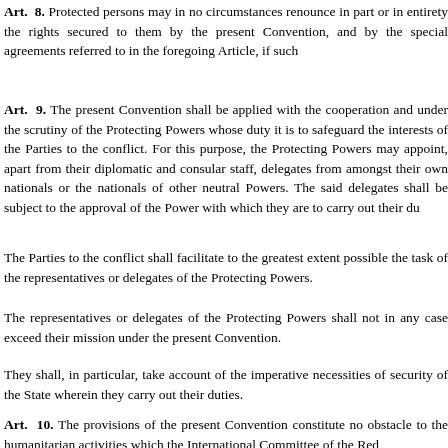Art. 8. Protected persons may in no circumstances renounce in part or in entirety the rights secured to them by the present Convention, and by the special agreements referred to in the foregoing Article, if such
Art. 9. The present Convention shall be applied with the cooperation and under the scrutiny of the Protecting Powers whose duty it is to safeguard the interests of the Parties to the conflict. For this purpose, the Protecting Powers may appoint, apart from their diplomatic and consular staff, delegates from amongst their own nationals or the nationals of other neutral Powers. The said delegates shall be subject to the approval of the Power with which they are to carry out their du
The Parties to the conflict shall facilitate to the greatest extent possible the task of the representatives or delegates of the Protecting Powers.
The representatives or delegates of the Protecting Powers shall not in any case exceed their mission under the present Convention.
They shall, in particular, take account of the imperative necessities of security of the State wherein they carry out their duties.
Art. 10. The provisions of the present Convention constitute no obstacle to the humanitarian activities which the International Committee of the Red